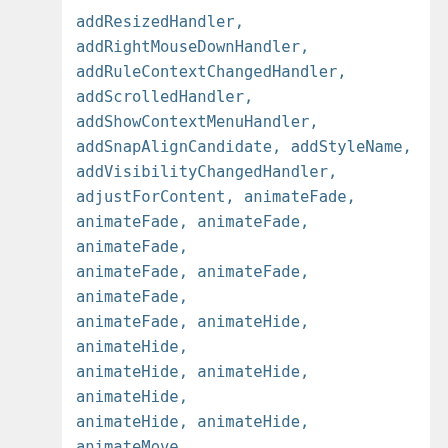addResizedHandler, addRightMouseDownHandler, addRuleContextChangedHandler, addScrolledHandler, addShowContextMenuHandler, addSnapAlignCandidate, addStyleName, addVisibilityChangedHandler, adjustForContent, animateFade, animateFade, animateFade, animateFade, animateFade, animateFade, animateFade, animateFade, animateHide, animateHide, animateHide, animateHide, animateHide, animateHide, animateHide, animateHide, animateMove, animateMove, animateMove, animateMove, animateRect, animateRect, animateRect, animateRect, animateResize, animateResize, animateResize, animateResize, animateScroll, animateScroll, animateScroll, animateScroll, animateScroll,